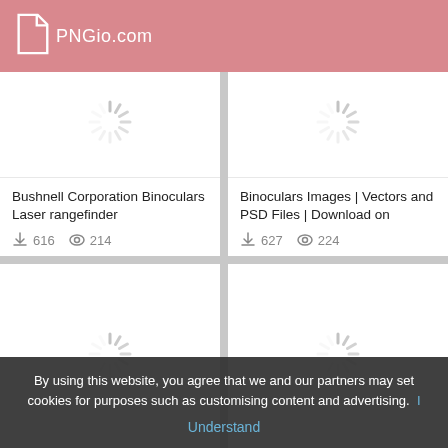PNGio.com
[Figure (screenshot): Loading spinner placeholder for Bushnell Corporation Binoculars Laser rangefinder image]
Bushnell Corporation Binoculars Laser rangefinder
616 downloads, 214 views
[Figure (screenshot): Loading spinner placeholder for Binoculars Images | Vectors and PSD Files | Download on image]
Binoculars Images | Vectors and PSD Files | Download on
627 downloads, 224 views
[Figure (screenshot): Loading spinner placeholder bottom-left card]
[Figure (screenshot): Loading spinner placeholder bottom-right card]
By using this website, you agree that we and our partners may set cookies for purposes such as customising content and advertising. I Understand